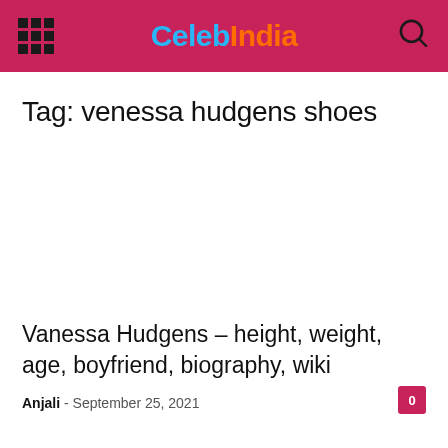CelebIndia
Tag: venessa hudgens shoes
Vanessa Hudgens – height, weight, age, boyfriend, biography, wiki
Anjali - September 25, 2021